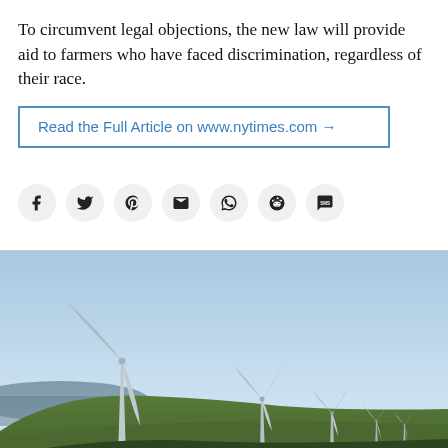To circumvent legal objections, the new law will provide aid to farmers who have faced discrimination, regardless of their race.
Read the Full Article on www.nytimes.com →
[Figure (infographic): Social media share icons: Facebook, Twitter, Pinterest, Email, WhatsApp, Reddit, SMS]
[Figure (photo): Wind turbines on a green hillside with a clear blue sky and ocean visible in the background. Multiple wind turbines receding into the distance.]
Lawrence Murray/Flickr